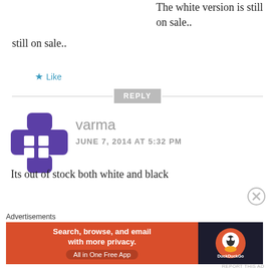The white version is still on sale..
★ Like
REPLY
[Figure (illustration): Purple game controller / cross-shaped avatar icon with white squares]
varma
JUNE 7, 2014 AT 5:32 PM
Its out of stock both white and black
Advertisements
[Figure (screenshot): DuckDuckGo advertisement banner: Search, browse, and email with more privacy. All in One Free App]